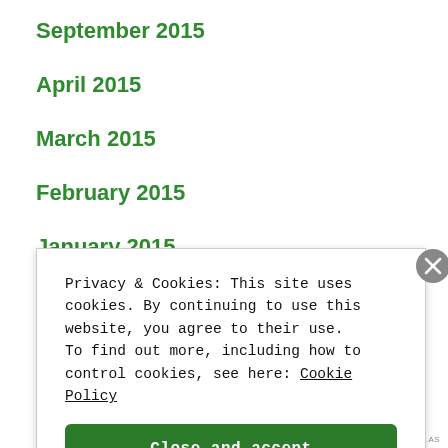September 2015
April 2015
March 2015
February 2015
January 2015
December 2014
Privacy & Cookies: This site uses cookies. By continuing to use this website, you agree to their use.
To find out more, including how to control cookies, see here: Cookie Policy
Close and accept
REDIRECT.AS